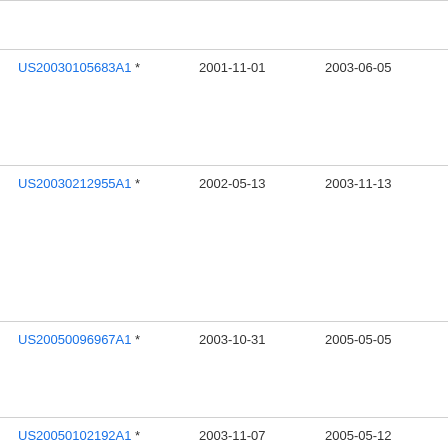| Publication | Filing Date | Publication Date | Assignee |
| --- | --- | --- | --- |
| US20030105683A1 * | 2001-11-01 | 2003-06-05 | Fra Fra |
| US20030212955A1 * | 2002-05-13 | 2003-11-13 | Sie Akt |
| US20050096967A1 * | 2003-10-31 | 2005-05-05 | Ge |
| US20050102192A1 * | 2003-11-07 | 2005-05-12 | Ge |